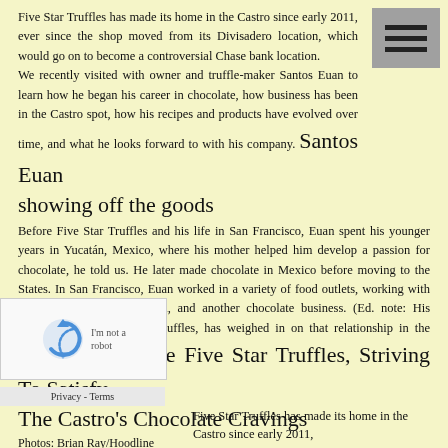Five Star Truffles has made its home in the Castro since early 2011, ever since the shop moved from its Divisadero location, which would go on to become a controversial Chase bank location.
We recently visited with owner and truffle-maker Santos Euan to learn how he began his career in chocolate, how business has been in the Castro spot, how his recipes and products have evolved over time, and what he looks forward to with his company. Santos Euan showing off the goods
showing off the goods
Before Five Star Truffles and his life in San Francisco, Euan spent his younger years in Yucatán, Mexico, where his mother helped him develop a passion for chocolate, he told us. He later made chocolate in Mexico before moving to the States. In San Francisco, Euan worked in a variety of food outlets, working with sushi, coffee, Mexican food, and another chocolate business. (Ed. note: His previous employer, XOX Truffles, has weighed in on that relationship in the comments, below.) Inside Five Star Truffles, Striving To Satisfy The Castro's Chocolate Cravings
Inside Five Star Truffles, Striving To Satisfy The Castro's Chocolate Cravings
Photos: Brian Ray/Hoodline
Fri. September 25, 2015, 1:11pm
by Brian Ray
@BrianPaulRay
Neighborhoods
Castro, Divisadero
Five Star Truffles has made its home in the Castro since early 2011,